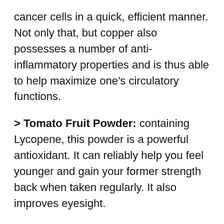cancer cells in a quick, efficient manner. Not only that, but copper also possesses a number of anti-inflammatory properties and is thus able to help maximize one's circulatory functions.
> Tomato Fruit Powder: containing Lycopene, this powder is a powerful antioxidant. It can reliably help you feel younger and gain your former strength back when taken regularly. It also improves eyesight.
> Plant Sterol Complex: Even though plant sterols are usually taken orally as a means of lowering one's unhealthy cholesterol levels